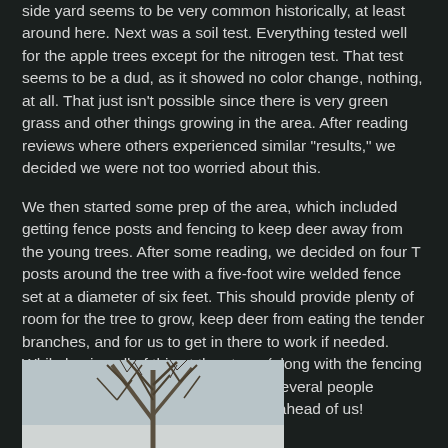side yard seems to be very common historically, at least around here. Next was a soil test. Everything tested well for the apple trees except for the nitrogen test. That test seems to be a dud, as it showed no color change, nothing, at all. That just isn't possible since there is very green grass and other things growing in the area. After reading reviews where others experienced similar "results," we decided we were not too worried about this.
We then started some prep of the area, which included getting fence posts and fencing to keep deer away from the young trees. After some reading, we decided on four T posts around the tree with a five-foot wire welded fence set at a diameter of six feet. This should provide plenty of room for the tree to grow, keep deer from eating the tender branches, and for us to get in there to work if needed. While buying all of this at the store, (along with the fencing needed for the garden later) we had several people comment on how much work we had ahead of us!
[Figure (photo): Photo of bare winter trees with branches visible against a light sky]